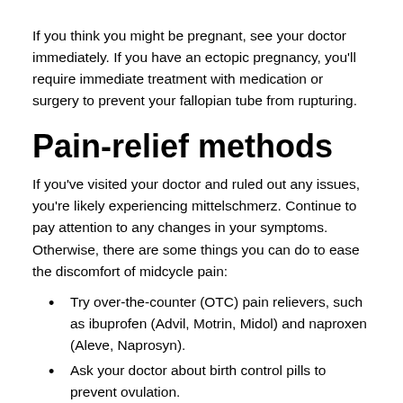If you think you might be pregnant, see your doctor immediately. If you have an ectopic pregnancy, you'll require immediate treatment with medication or surgery to prevent your fallopian tube from rupturing.
Pain-relief methods
If you've visited your doctor and ruled out any issues, you're likely experiencing mittelschmerz. Continue to pay attention to any changes in your symptoms. Otherwise, there are some things you can do to ease the discomfort of midcycle pain:
Try over-the-counter (OTC) pain relievers, such as ibuprofen (Advil, Motrin, Midol) and naproxen (Aleve, Naprosyn).
Ask your doctor about birth control pills to prevent ovulation.
Apply a heating pad to the affected area, or take a